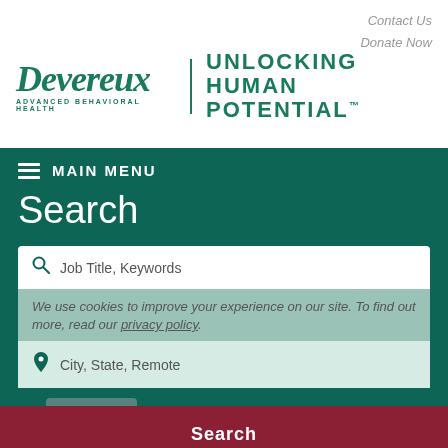Contact Us
Donate Now
[Figure (logo): Devereux Advanced Behavioral Health logo with tagline UNLOCKING HUMAN POTENTIAL]
≡ MAIN MENU
Search
Job Title, Keywords
We use cookies to improve your experience on our site. To find out more, read our privacy policy.
City, State, Remote
Accept
Search